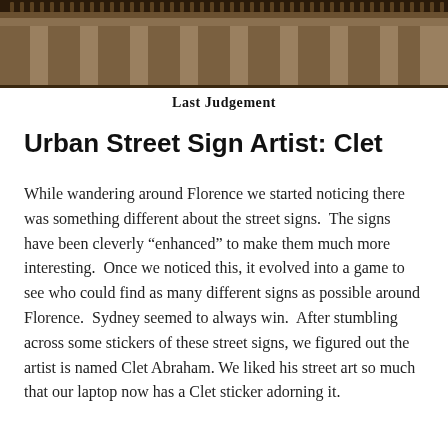[Figure (photo): Architectural photograph showing ornate classical building facade with columns and decorative stonework, viewed from below against a dark background]
Last Judgement
Urban Street Sign Artist: Clet
While wandering around Florence we started noticing there was something different about the street signs.  The signs have been cleverly “enhanced” to make them much more interesting.  Once we noticed this, it evolved into a game to see who could find as many different signs as possible around Florence.  Sydney seemed to always win.  After stumbling across some stickers of these street signs, we figured out the artist is named Clet Abraham. We liked his street art so much that our laptop now has a Clet sticker adorning it.